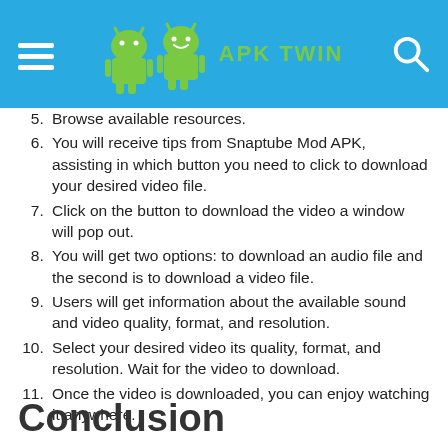[Figure (logo): APK Twin website header with two Android mascot logos and site name 'APK TWIN' on blue background with hamburger menu and search icon]
5. Browse available resources.
6. You will receive tips from Snaptube Mod APK, assisting in which button you need to click to download your desired video file.
7. Click on the button to download the video a window will pop out.
8. You will get two options: to download an audio file and the second is to download a video file.
9. Users will get information about the available sound and video quality, format, and resolution.
10. Select your desired video its quality, format, and resolution. Wait for the video to download.
11. Once the video is downloaded, you can enjoy watching it anywhere.
Conclusion